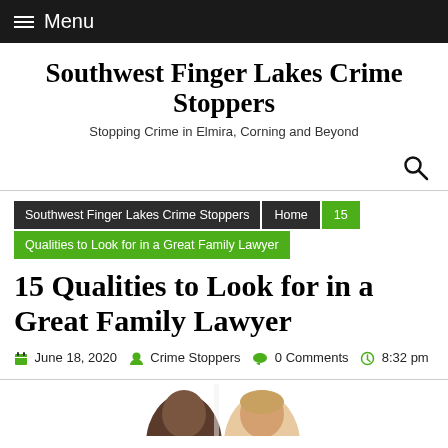Menu
Southwest Finger Lakes Crime Stoppers
Stopping Crime in Elmira, Corning and Beyond
Southwest Finger Lakes Crime Stoppers  Home  15  Qualities to Look for in a Great Family Lawyer
15 Qualities to Look for in a Great Family Lawyer
June 18, 2020  Crime Stoppers  0 Comments  8:32 pm
[Figure (photo): Two people (partially visible heads) appearing to be in a professional setting, likely representing a lawyer consultation.]